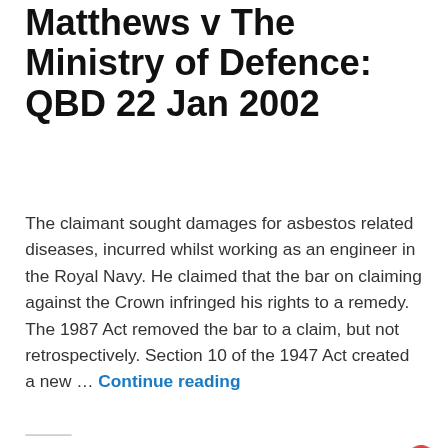Matthews v The Ministry of Defence: QBD 22 Jan 2002
The claimant sought damages for asbestos related diseases, incurred whilst working as an engineer in the Royal Navy. He claimed that the bar on claiming against the Crown infringed his rights to a remedy. The 1987 Act removed the bar to a claim, but not retrospectively. Section 10 of the 1947 Act created a new ... Continue reading
[Figure (screenshot): Chat widget with blue background showing solicitor prompt and avatar with badge showing 1 notification]
[Figure (screenshot): Advertisement banner for Wegmans School Snacks with orange logo icon and blue navigation arrow]